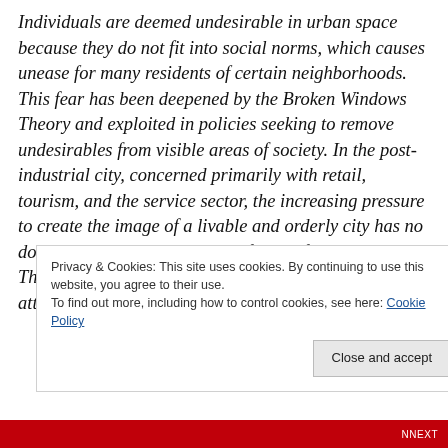Individuals are deemed undesirable in urban space because they do not fit into social norms, which causes unease for many residents of certain neighborhoods. This fear has been deepened by the Broken Windows Theory and exploited in policies seeking to remove undesirables from visible areas of society. In the post-industrial city, concerned primarily with retail, tourism, and the service sector, the increasing pressure to create the image of a livable and orderly city has no doubt aided in the most recent forms of social control. These new techniques involve even more intense attempts to spatially expel
Privacy & Cookies: This site uses cookies. By continuing to use this website, you agree to their use.
To find out more, including how to control cookies, see here: Cookie Policy
Close and accept